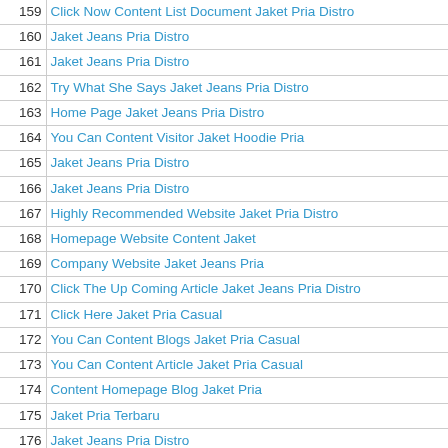| # | Link |
| --- | --- |
| 159 | Click Now Content List Document Jaket Pria Distro |
| 160 | Jaket Jeans Pria Distro |
| 161 | Jaket Jeans Pria Distro |
| 162 | Try What She Says Jaket Jeans Pria Distro |
| 163 | Home Page Jaket Jeans Pria Distro |
| 164 | You Can Content Visitor Jaket Hoodie Pria |
| 165 | Jaket Jeans Pria Distro |
| 166 | Jaket Jeans Pria Distro |
| 167 | Highly Recommended Website Jaket Pria Distro |
| 168 | Homepage Website Content Jaket |
| 169 | Company Website Jaket Jeans Pria |
| 170 | Click The Up Coming Article Jaket Jeans Pria Distro |
| 171 | Click Here Jaket Pria Casual |
| 172 | You Can Content Blogs Jaket Pria Casual |
| 173 | You Can Content Article Jaket Pria Casual |
| 174 | Content Homepage Blog Jaket Pria |
| 175 | Jaket Pria Terbaru |
| 176 | Jaket Jeans Pria Distro |